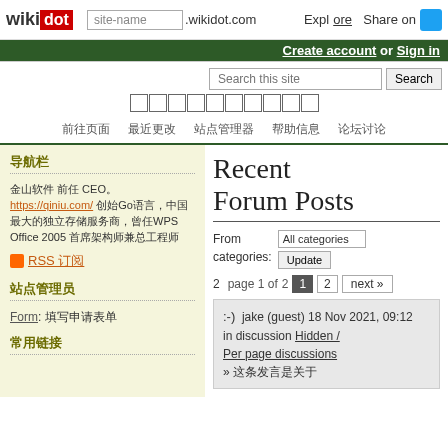wikidot | site-name .wikidot.com | Explore | Share on Twitter
Create account or Sign in
Search this site [Search]
nav items (CJK characters)
Recent Forum Posts
From categories: All categories | Update
2  page 1 of 2  next »
:-)  jake (guest) 18 Nov 2021, 09:12
in discussion Hidden / Per page discussions
» (CJK text)